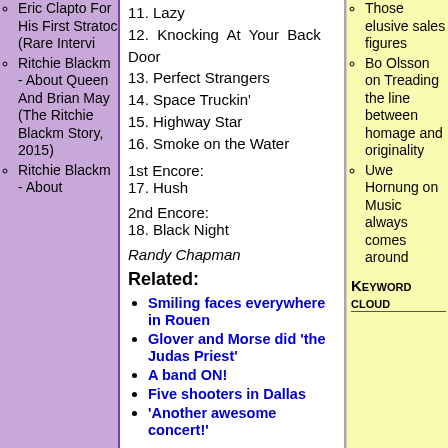Eric Clapto For His First Stratoc (Rare Intervi
Ritchie Blackm - About Queen And Brian May (The Ritchie Blackm Story, 2015)
Ritchie Blackm - About
11. Lazy
12. Knocking At Your Back Door
13. Perfect Strangers
14. Space Truckin'
15. Highway Star
16. Smoke on the Water
1st Encore:
17. Hush
2nd Encore:
18. Black Night
Randy Chapman
Related:
Smiling faces everywhere in Rouen
Glover and Morse did 'the Judas Priest'
A band ON!
Five shooters in Dallas
'Another awesome concert!'
Those elusive sales figures
Bo Olsson on Treading the line between homage and originality
Uwe Hornung on Music always comes around
Keyword cloud